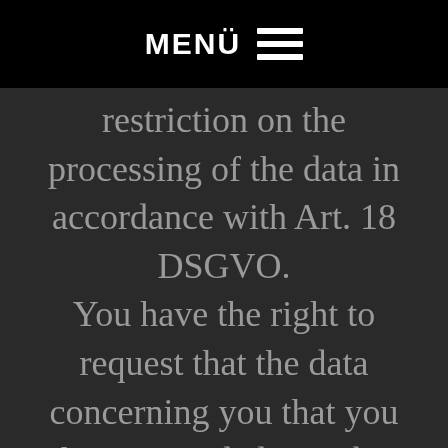MENÜ ☰
restriction on the processing of the data in accordance with Art. 18 DSGVO. You have the right to request that the data concerning you that you have provided to us be